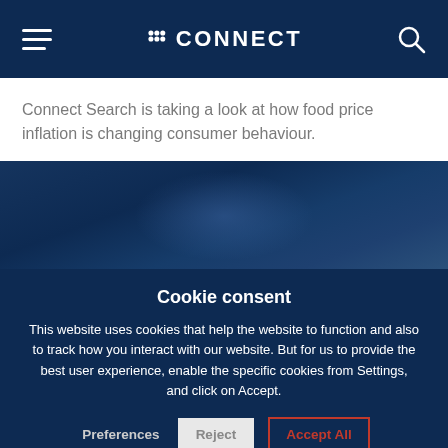CONNECT
Connect Search is taking a look at how food price inflation is changing consumer behaviour.
[Figure (photo): Dark blue background image with subtle circular lighting effect, partially obscured by cookie consent overlay.]
Cookie consent
This website uses cookies that help the website to function and also to track how you interact with our website. But for us to provide the best user experience, enable the specific cookies from Settings, and click on Accept.
Preferences  Reject  Accept All